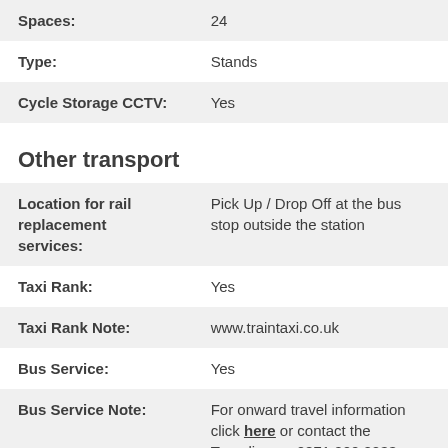| Spaces: | 24 |
| Type: | Stands |
| Cycle Storage CCTV: | Yes |
Other transport
| Location for rail replacement services: | Pick Up / Drop Off at the bus stop outside the station |
| Taxi Rank: | Yes |
| Taxi Rank Note: | www.traintaxi.co.uk |
| Bus Service: | Yes |
| Bus Service Note: | For onward travel information click here or contact the Traveline on 0871 200 2233 |